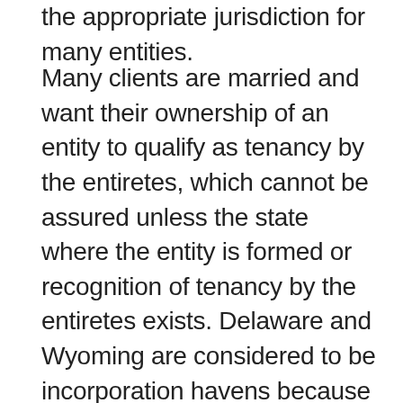the appropriate jurisdiction for many entities.
Many clients are married and want their ownership of an entity to qualify as tenancy by the entiretes, which cannot be assured unless the state where the entity is formed or recognition of tenancy by the entiretes exists. Delaware and Wyoming are considered to be incorporation havens because they do not impose any income tax and have pro-business laws. In addition, both Delaware and Wyoming recognize tenancy by the entiretes, and have good secrecy practices as well, but we have found Delaware to be much more expensive and cumbersome to use than Wyoming, except that Wyoming does not have electronic filing like Delaware does. Colorado and Nevada are also popular, but do not recognize tenancy by the entiretes. Wyoming is the only